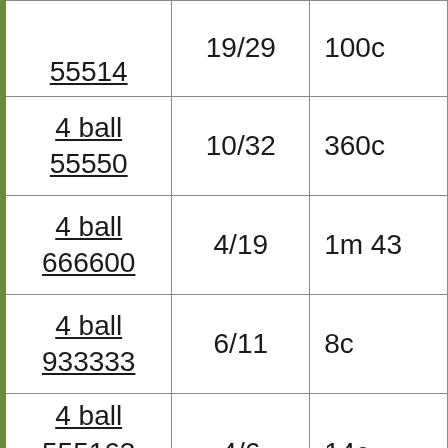| 4 ball
55514 | 19/29 | 100c |
| 4 ball
55550 | 10/32 | 360c |
| 4 ball
666600 | 4/19 | 1m 43 |
| 4 ball
933333 | 6/11 | 8c |
| 4 ball
5551633 | 4/6 | 14c |